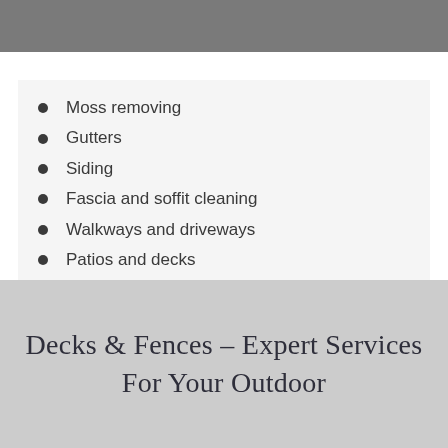Moss removing
Gutters
Siding
Fascia and soffit cleaning
Walkways and driveways
Patios and decks
Decks & Fences – Expert Services For Your Outdoor